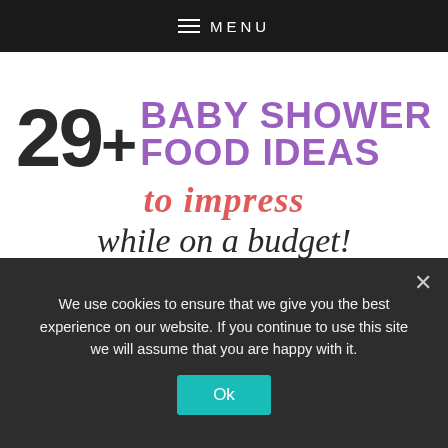≡ MENU
29+ BABY SHOWER FOOD IDEAS to impress while on a budget!
Everyday THRIFTY
[Figure (photo): Two food photos side by side: left shows spiral/pinwheel pastry rolls, right shows pink rose-shaped strawberry dessert with green leaf garnish. Caption: 29+ Baby Shower Food Ideas to Impress]
29+ Baby Shower Food Ideas to Impress
We use cookies to ensure that we give you the best experience on our website. If you continue to use this site we will assume that you are happy with it.